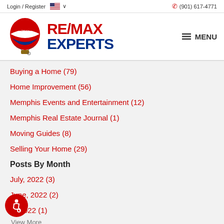Login / Register   (901) 617-4771
[Figure (logo): RE/MAX hot air balloon logo with RE/MAX EXPERTS text in red and blue]
Buying a Home  (79)
Home Improvement  (56)
Memphis Events and Entertainment  (12)
Memphis Real Estate Journal  (1)
Moving Guides  (8)
Selling Your Home  (29)
Posts By Month
July, 2022  (3)
June, 2022  (2)
y, 2022  (1)
View More